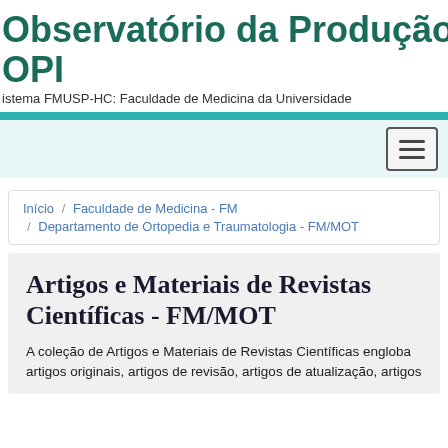Observatório da Produção I
OPI
istema FMUSP-HC: Faculdade de Medicina da Universidade
Início / Faculdade de Medicina - FM / Departamento de Ortopedia e Traumatologia - FM/MOT
Artigos e Materiais de Revistas Científicas - FM/MOT
A coleção de Artigos e Materiais de Revistas Científicas engloba artigos originais, artigos de revisão, artigos de atualização, artigos